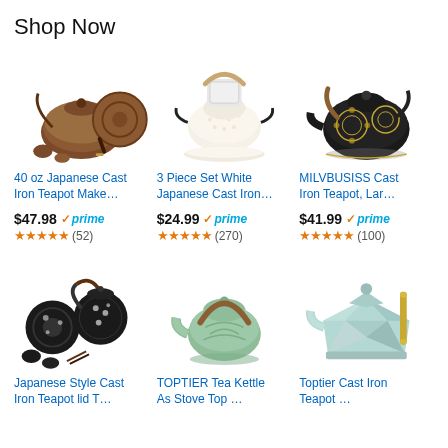Shop Now
[Figure (photo): 40 oz Japanese Cast Iron Teapot with accessories, bronze/brown color]
40 oz Japanese Cast Iron Teapot Make…
$47.98 ✓prime ★★★★★ (52)
[Figure (photo): 3 Piece Set White Japanese Cast Iron teapot with strainer and trivet]
3 Piece Set White Japanese Cast Iron…
$24.99 ✓prime ★★★★★ (270)
[Figure (photo): MILVBUSISS Cast Iron Teapot, dark black with gold floral pattern]
MILVBUSISS Cast Iron Teapot, Lar…
$41.99 ✓prime ★★★★★ (100)
[Figure (photo): Japanese Style Cast Iron Teapot set with black teapot, trivet and cups with cherry blossom design]
Japanese Style Cast Iron Teapot lid T…
[Figure (photo): TOPTIER Tea Kettle, sage green ceramic/cast iron kettle with brown handle]
TOPTIER Tea Kettle As Stove Top ...
[Figure (photo): Toptier Cast Iron geometric faceted teapot in mint/pale blue with gold handle]
Toptier Cast Iron Teapot ...